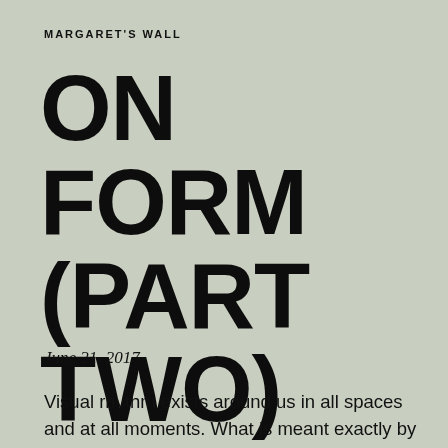MARGARET'S WALL
ON FORM (PART TWO)
June 21, 2017
Visual rhythm exists around us in all spaces and at all moments. What is meant exactly by the term "visual rhythm?" As an abstract concept, we may perhaps define "rhythm" as the perception of patterns. In music, we perceive recurring metric patterns—that is, events in